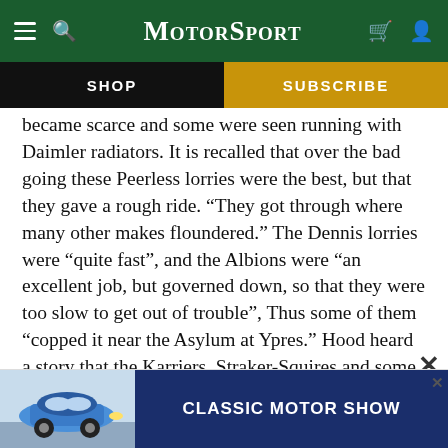Motor Sport — navigation bar with hamburger menu, search, logo, cart, and user icons
SHOP | SUBSCRIBE
became scarce and some were seen running with Daimler radiators. It is recalled that over the bad going these Peerless lorries were the best, but that they gave a rough ride. “They got through where many other makes floundered.” The Dennis lorries were “quite fast”, and the Albions were “an excellent job, but governed down, so that they were too slow to get out of trouble”, Thus some of them “copped it near the Asylum at Ypres.” Hood heard a story that the Karriers, Straker-Squires and some other makes were condemned and taken out of gene...ed as ex...
[Figure (screenshot): Classic Motor Show advertisement banner with a vintage Porsche 911 and blue 'CLASSIC MOTOR SHOW' text box]